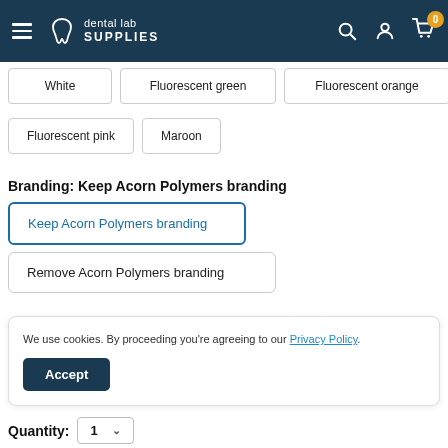dental lab SUPPLIES — navigation bar with hamburger menu, logo, search, account, and cart icons
White
Fluorescent green
Fluorescent orange
Fluorescent pink
Maroon
Branding:  Keep Acorn Polymers branding
Keep Acorn Polymers branding
Remove Acorn Polymers branding
We use cookies. By proceeding you're agreeing to our Privacy Policy.
Accept
Quantity:  1